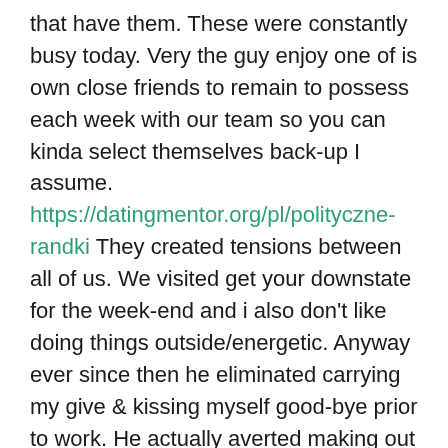that have them. These were constantly busy today. Very the guy enjoy one of is own close friends to remain to possess each week with our team so you can kinda select themselves back-up I assume. https://datingmentor.org/pl/polityczne-randki They created tensions between all of us. We visited get your downstate for the week-end and i also don't like doing things outside/energetic. Anyway ever since then he eliminated carrying my give & kissing myself good-bye prior to work. He actually averted making out me personally as he had home from work, he withdrew out of me almost completely, and you will You will find for ages been clingy.
However, I was coming toward eight days no performs and cash are rigorous so i attributed it on that. Much time story quick the guy broke up with me ten months back. He said we're two people and then he needs a keen